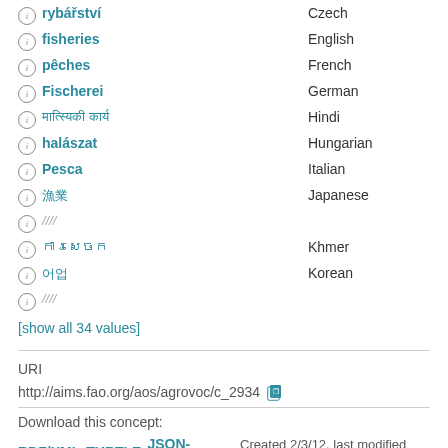ⓘ rybářství — Czech
ⓘ fisheries — English
ⓘ pêches — French
ⓘ Fischerei — German
ⓘ [Hindi unrenderable] — Hindi
ⓘ halászat — Hungarian
ⓘ Pesca — Italian
ⓘ [Japanese unrenderable] — Japanese
ⓘ [Japanese unrenderable row 2]
ⓘ [Khmer unrenderable] — Khmer
ⓘ [Korean unrenderable] — Korean
ⓘ [Korean unrenderable row 2]
[show all 34 values]
URI
http://aims.fao.org/aos/agrovoc/c_2934
Download this concept:
RDF/XML  TURTLE  JSON-LD    Created 2/3/12, last modified 8/4/22
BROADER MATCHING CONCEPTS